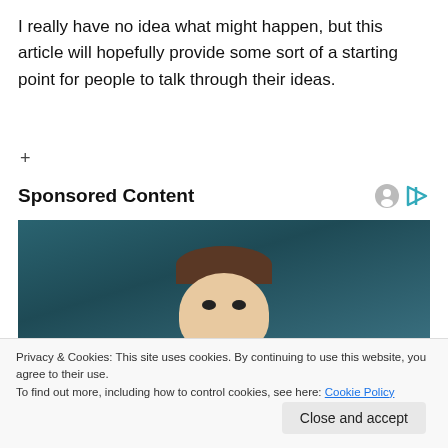I really have no idea what might happen, but this article will hopefully provide some sort of a starting point for people to talk through their ideas.
+
Sponsored Content
[Figure (photo): Woman with surprised/curious expression peeking upward into frame, against dark teal background.]
Privacy & Cookies: This site uses cookies. By continuing to use this website, you agree to their use.
To find out more, including how to control cookies, see here: Cookie Policy
Close and accept